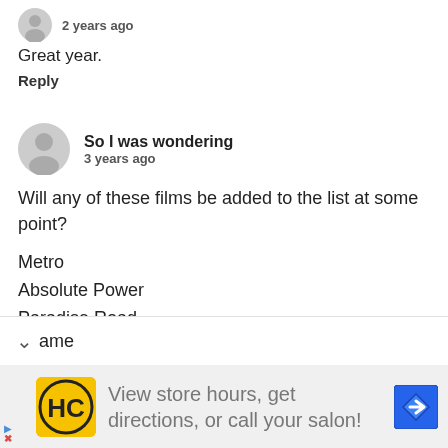2 years ago
Great year.
Reply
So I was wondering
3 years ago
Will any of these films be added to the list at some point?
Metro
Absolute Power
Paradise Road
Trial and Error
She's So Lovely
ame
View store hours, get directions, or call your salon!